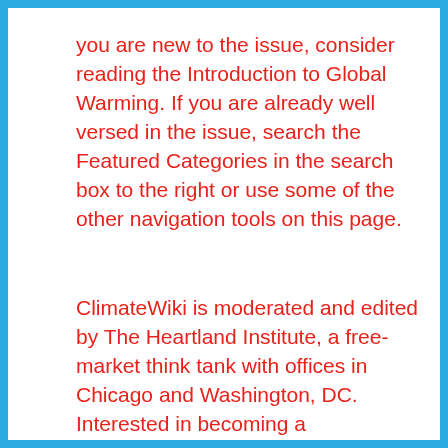you are new to the issue, consider reading the Introduction to Global Warming. If you are already well versed in the issue, search the Featured Categories in the search box to the right or use some of the other navigation tools on this page.
ClimateWiki is moderated and edited by The Heartland Institute, a free-market think tank with offices in Chicago and Washington, DC. Interested in becoming a contributor? Contact John Monaghan at jmonaghan@heartland.org
What kind of an idiot would take such an openly biased source at face value?
Look at this: